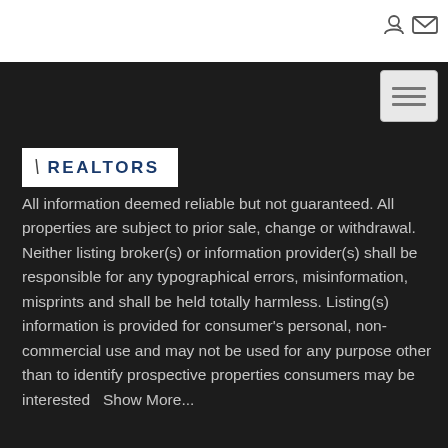[Figure (logo): REALTORS logo with slash mark in white box on dark background]
All information deemed reliable but not guaranteed. All properties are subject to prior sale, change or withdrawal. Neither listing broker(s) or information provider(s) shall be responsible for any typographical errors, misinformation, misprints and shall be held totally harmless. Listing(s) information is provided for consumer's personal, non-commercial use and may not be used for any purpose other than to identify prospective properties consumers may be interested   Show More...